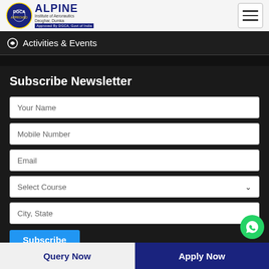ALPINE Institute of Aeronautics - Approved By DGCA, Govt of India
Activities & Events
Subscribe Newsletter
Your Name
Mobile Number
Email
Select Course
City, State
Subscribe
Query Now | Apply Now